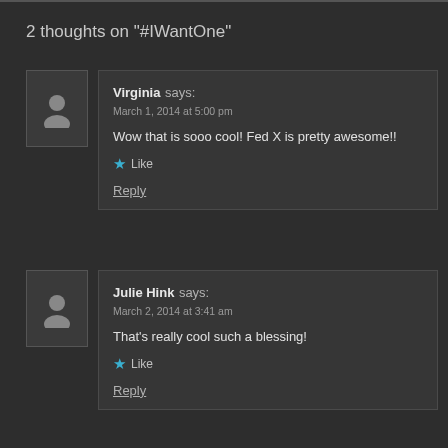2 thoughts on "#IWantOne"
Virginia says:
March 1, 2014 at 5:00 pm
Wow that is sooo cool! Fed X is pretty awesome!!
★ Like
Reply
Julie Hink says:
March 2, 2014 at 3:41 am
That's really cool such a blessing!
★ Like
Reply